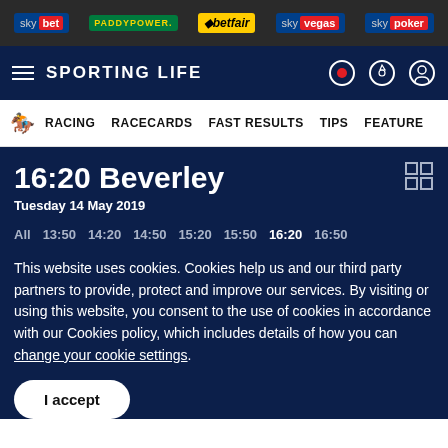sky bet | PADDYPOWER. | betfair | sky vegas | sky poker
SPORTING LIFE
RACING  RACECARDS  FAST RESULTS  TIPS  FEATURES
16:20 Beverley
Tuesday 14 May 2019
All  13:50  14:20  14:50  15:20  15:50  16:20  16:50
This website uses cookies. Cookies help us and our third party partners to provide, protect and improve our services. By visiting or using this website, you consent to the use of cookies in accordance with our Cookies policy, which includes details of how you can change your cookie settings.
I accept